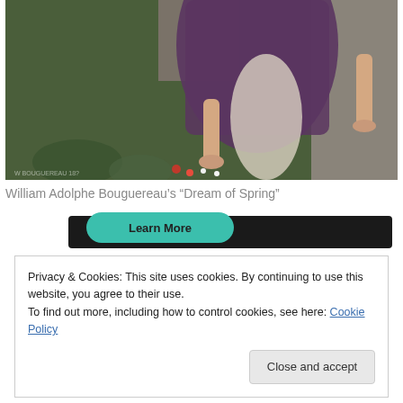[Figure (illustration): Painting showing lower half of robed figures seated on a stone ledge with bare feet dangling, purple drapery, green foliage and fallen flowers on ground below. William Adolphe Bouguereau's 'Dream of Spring'.]
William Adolphe Bouguereau’s “Dream of Spring”
[Figure (screenshot): Dark banner with teal 'Learn More' rounded button on left side]
Privacy & Cookies: This site uses cookies. By continuing to use this website, you agree to their use.
To find out more, including how to control cookies, see here: Cookie Policy
Close and accept